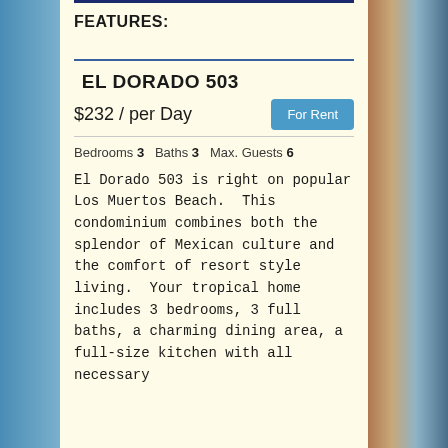FEATURES:
EL DORADO 503
$232 / per Day
For Rent
Bedrooms 3   Baths 3   Max. Guests 6
El Dorado 503 is right on popular Los Muertos Beach.  This condominium combines both the splendor of Mexican culture and the comfort of resort style living.  Your tropical home includes 3 bedrooms, 3 full baths, a charming dining area, a full-size kitchen with all necessary